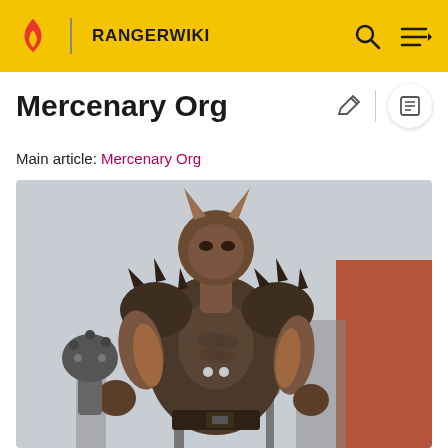RANGERWIKI
Mercenary Org
Main article: Mercenary Org
[Figure (photo): A large muscular creature in dark spiked armor holding a large weapon, standing in an outdoor scene with containers and poles in the background.]